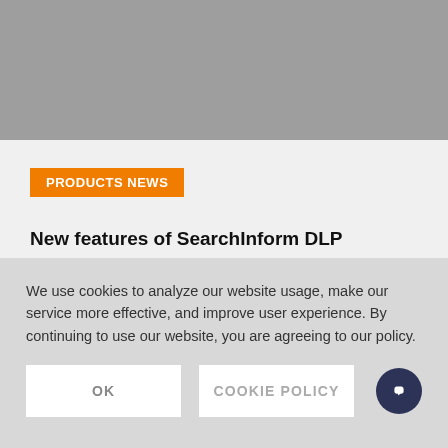[Figure (screenshot): Gray header banner area at top of webpage]
PRODUCTS NEWS
New features of SearchInform DLP
Two new modules have been added to SearchInform Endpoint, AlertCenter and ReportCenter have been upgraded.
We use cookies to analyze our website usage, make our service more effective, and improve user experience. By continuing to use our website, you are agreeing to our policy.
OK
COOKIE POLICY